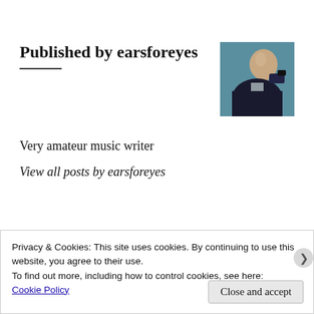Published by earsforeyes
[Figure (photo): Profile photo of earsforeyes: a bald person holding or using binoculars, viewed from behind/side, wearing dark clothing against a teal/blue background]
Very amateur music writer
View all posts by earsforeyes
Privacy & Cookies: This site uses cookies. By continuing to use this website, you agree to their use.
To find out more, including how to control cookies, see here:
Cookie Policy